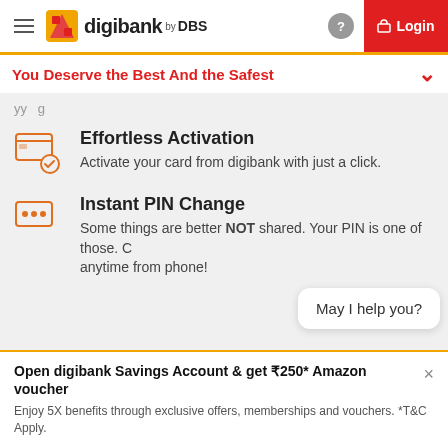[Figure (screenshot): digibank by DBS mobile app navigation bar with hamburger menu, logo, help button, and red Login button]
You Deserve the Best And the Safest
yy g
Effortless Activation
Activate your card from digibank with just a click.
Instant PIN Change
Some things are better NOT shared. Your PIN is one of those. C anytime from phone!
May I help you?
Open digibank Savings Account & get ₹250* Amazon voucher
Enjoy 5X benefits through exclusive offers, memberships and vouchers. *T&C Apply.